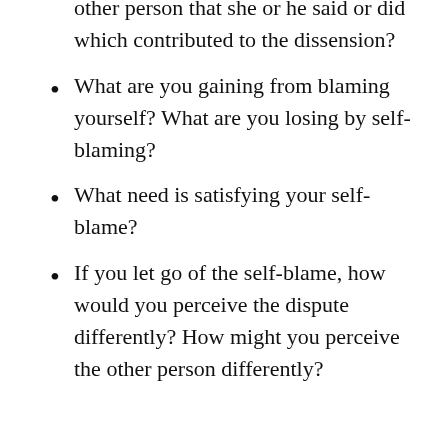other person that she or he said or did which contributed to the dissension?
What are you gaining from blaming yourself? What are you losing by self-blaming?
What need is satisfying your self-blame?
If you let go of the self-blame, how would you perceive the dispute differently? How might you perceive the other person differently?